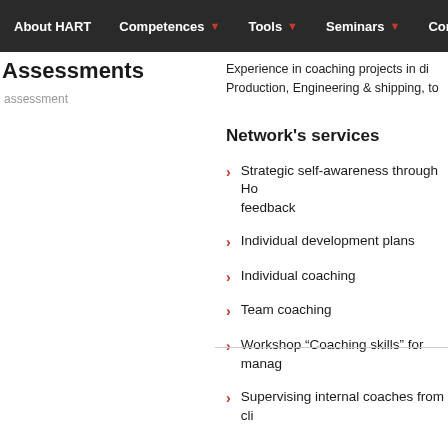About HART | Competences | Tools | Seminars | Conferen...
Assessments
assessment
Experience in coaching projects in d... Production, Engineering & shipping, to...
Network's services
Strategic self-awareness through Ho... feedback
Individual development plans
Individual coaching
Team coaching
Workshop “Coaching skills” for manag...
Supervising internal coaches from clie...